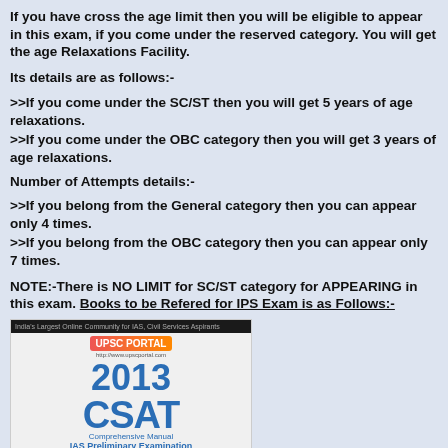If you have cross the age limit then you will be eligible to appear in this exam, if you come under the reserved category. You will get the age Relaxations Facility.
Its details are as follows:-
>>If you come under the SC/ST then you will get 5 years of age relaxations.
>>If you come under the OBC category then you will get 3 years of age relaxations.
Number of Attempts details:-
>>If you belong from the General category then you can appear only 4 times.
>>If you belong from the OBC category then you can appear only 7 times.
NOTE:-There is NO LIMIT for SC/ST category for APPEARING in this exam. Books to be Refered for IPS Exam is as Follows:-
[Figure (photo): Book cover for UPSC Portal 2013 CSAT Comprehensive Manual IAS Preliminary Examination Paper II]